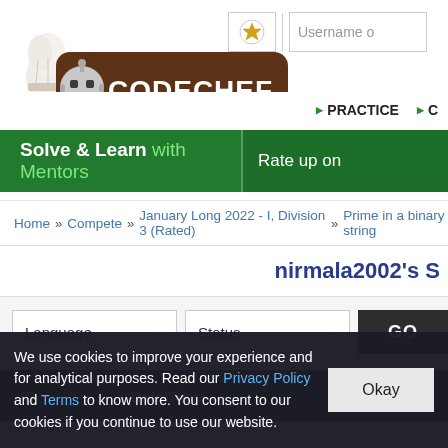[Figure (logo): CodeChef logo with chef hat and robot face mascot, brown rounded rectangle background, text 'CODECHEF', subtitle 'An unacademy Educational Initiative']
Username o...
PRACTICE
Solve & Learn with Mentors | Rate up on...
Home » Compete » January Long 2022 - I, Division 3 (Rated) » Prime in a binary string
nirmala2002's S
Language  Status  GO
| ID | Date/Time | Username |
| --- | --- | --- |
We use cookies to improve your experience and for analytical purposes. Read our Privacy Policy and Terms to know more. You consent to our cookies if you continue to use our website.